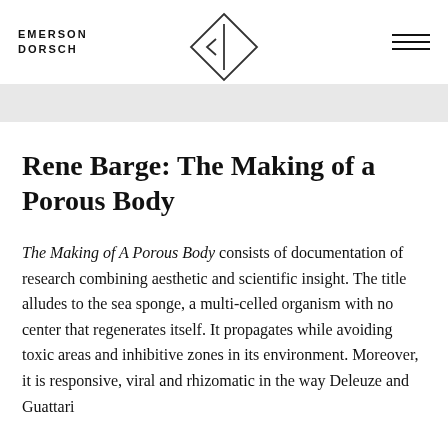EMERSON DORSCH
[Figure (logo): Diamond/rhombus shaped logo with a vertical line and left-pointing arrow inside, outlined in dark gray]
Rene Barge: The Making of a Porous Body
The Making of A Porous Body consists of documentation of research combining aesthetic and scientific insight. The title alludes to the sea sponge, a multi-celled organism with no center that regenerates itself. It propagates while avoiding toxic areas and inhibitive zones in its environment. Moreover, it is responsive, viral and rhizomatic in the way Deleuze and Guattari